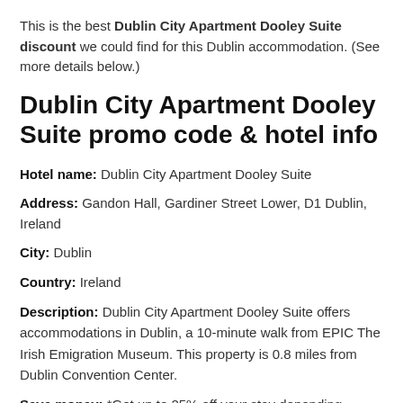This is the best Dublin City Apartment Dooley Suite discount we could find for this Dublin accommodation. (See more details below.)
Dublin City Apartment Dooley Suite promo code & hotel info
Hotel name: Dublin City Apartment Dooley Suite
Address: Gandon Hall, Gardiner Street Lower, D1 Dublin, Ireland
City: Dublin
Country: Ireland
Description: Dublin City Apartment Dooley Suite offers accommodations in Dublin, a 10-minute walk from EPIC The Irish Emigration Museum. This property is 0.8 miles from Dublin Convention Center.
Save money: *Get up to 25% off your stay depending